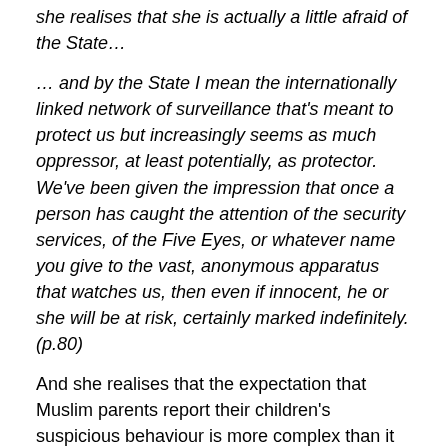she realises that she is actually a little afraid of the State…
… and by the State I mean the internationally linked network of surveillance that's meant to protect us but increasingly seems as much oppressor, at least potentially, as protector. We've been given the impression that once a person has caught the attention of the security services, of the Five Eyes, or whatever name you give to the vast, anonymous apparatus that watches us, then even if innocent, he or she will be at risk, certainly marked indefinitely. (p.80)
And she realises that the expectation that Muslim parents report their children's suspicious behaviour is more complex than it appears:
How many Muslim parents in the UK and Europe must be going through this, anxious about their children's